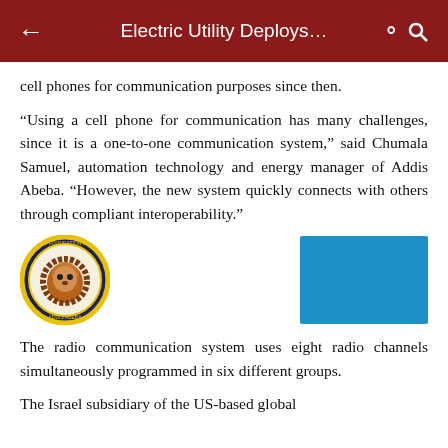Electric Utility Deploys…
cell phones for communication purposes since then.
“Using a cell phone for communication has many challenges, since it is a one-to-one communication system,” said Chumala Samuel, automation technology and energy manager of Addis Abeba. “However, the new system quickly connects with others through compliant interoperability.”
[Figure (logo): Circular logo with a lion image and text around the border in yellow and blue]
[Figure (other): Solid blue rectangle, likely a placeholder or image]
The radio communication system uses eight radio channels simultaneously programmed in six different groups.
The Israel subsidiary of the US-based global